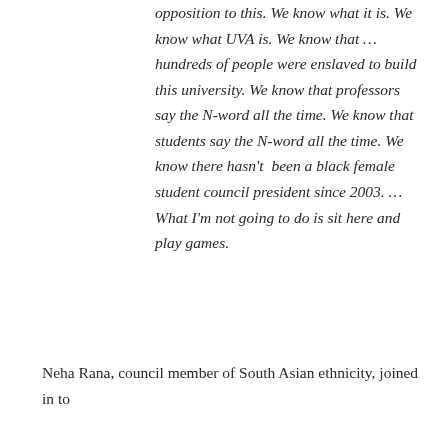opposition to this. We know what it is. We know what UVA is. We know that … hundreds of people were enslaved to build this university. We know that professors say the N-word all the time. We know that students say the N-word all the time. We know there hasn't  been a black female student council president since 2003. … What I'm not going to do is sit here and play games.
Neha Rana, council member of South Asian ethnicity, joined in to